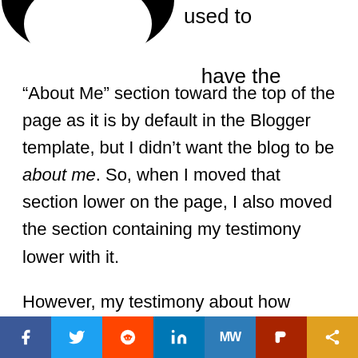[Figure (illustration): Black silhouette shape resembling a smile or mustache at top left of page]
used to have the
“About Me” section toward the top of the page as it is by default in the Blogger template, but I didn’t want the blog to be about me. So, when I moved that section lower on the page, I also moved the section containing my testimony lower with it.

However, my testimony about how Jesus saved me is not really about me. It is about Him. It is about the way in which He – as Great God and Savior – bestowed the grace of salvation upon
[Figure (infographic): Social sharing bar with icons for Facebook, Twitter, Reddit, LinkedIn, MeWe, Parler, and Share]